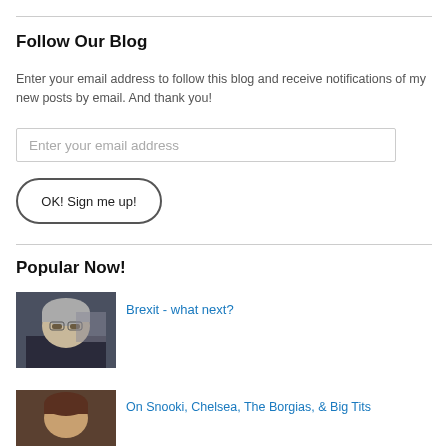Follow Our Blog
Enter your email address to follow this blog and receive notifications of my new posts by email. And thank you!
Enter your email address
OK! Sign me up!
Popular Now!
[Figure (photo): Photo of a woman, likely Theresa May, in a formal setting]
Brexit - what next?
[Figure (photo): Photo of a woman with brown hair]
On Snooki, Chelsea, The Borgias, & Big Tits